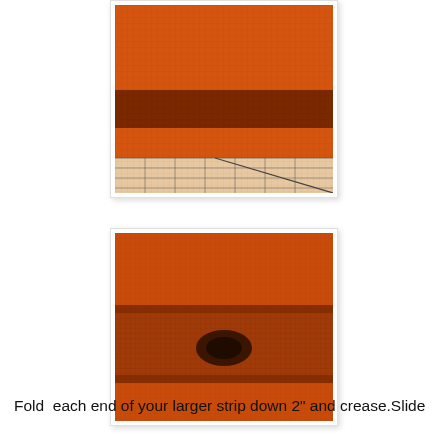[Figure (photo): Close-up photo of orange woven fabric/tarp material laid flat, with a dark brown strip folded over it, on top of a grid cutting mat visible at the bottom of the image.]
[Figure (photo): Close-up photo of orange woven fabric/tarp material with a darker orange/brown strip folded across the middle, showing a crease or fold. A dark smudge or mark is visible at the center.]
Fold  each end of your larger strip down 2" and crease.Slide